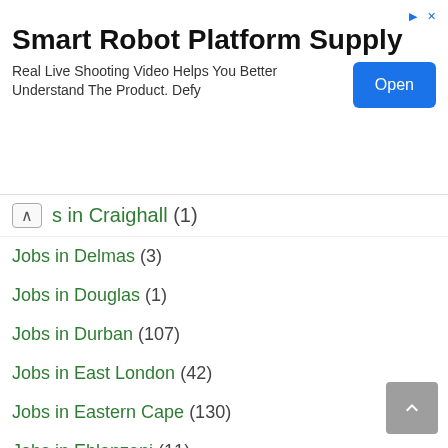[Figure (screenshot): Advertisement banner for Smart Robot Platform Supply with Open button]
s in Craighall (1)
Jobs in Delmas (3)
Jobs in Douglas (1)
Jobs in Durban (107)
Jobs in East London (42)
Jobs in Eastern Cape (130)
Jobs in Ehlanzeni (11)
Jobs in Ekurhuleni (14)
Jobs in Elsenburg (1)
Jobs in Emalahleni (10)
Jobs in Estcourt (2)